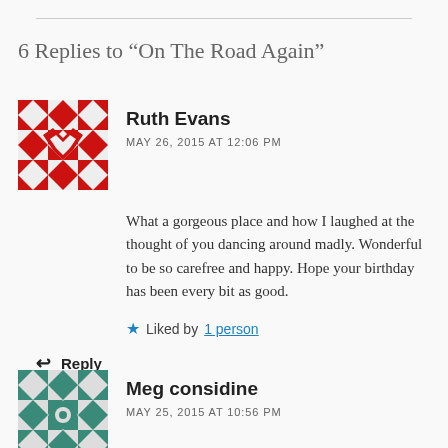6 Replies to “On The Road Again”
[Figure (illustration): Red and white geometric quilt-pattern avatar for Ruth Evans]
Ruth Evans
MAY 26, 2015 AT 12:06 PM
What a gorgeous place and how I laughed at the thought of you dancing around madly. Wonderful to be so carefree and happy. Hope your birthday has been every bit as good.
Liked by 1 person
Reply
[Figure (illustration): Teal/green geometric quilt-pattern avatar for Meg considine]
Meg considine
MAY 25, 2015 AT 10:56 PM